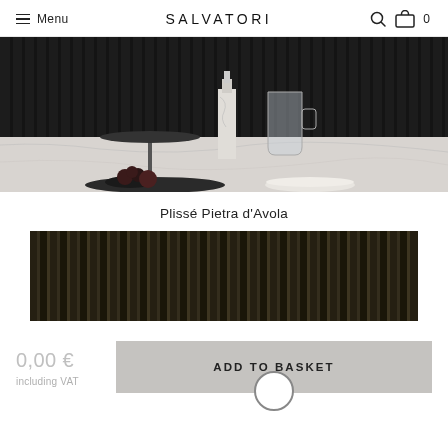Menu  SALVATORI  🔍 🛍 0
[Figure (photo): Black and white photo of marble kitchen surface with a two-tiered stand holding dark fruits, a marble bottle, and a glass carafe with handle, against a dark ribbed wall background.]
Plissé Pietra d'Avola
[Figure (photo): Close-up texture photo of Plissé Pietra d'Avola stone surface showing dark ribbed/pleated pattern with speckled gold and dark tones.]
0,00 €
including VAT
ADD TO BASKET